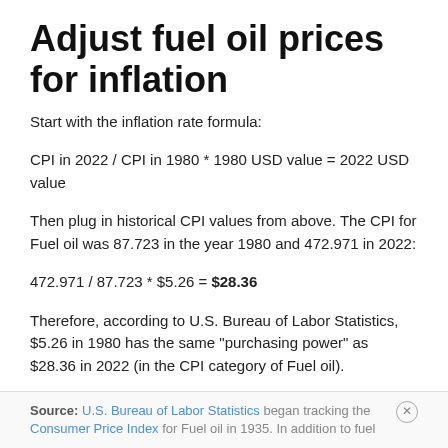Adjust fuel oil prices for inflation
Start with the inflation rate formula:
Then plug in historical CPI values from above. The CPI for Fuel oil was 87.723 in the year 1980 and 472.971 in 2022:
Therefore, according to U.S. Bureau of Labor Statistics, $5.26 in 1980 has the same "purchasing power" as $28.36 in 2022 (in the CPI category of Fuel oil).
Source: U.S. Bureau of Labor Statistics began tracking the Consumer Price Index for Fuel oil in 1935. In addition to fuel